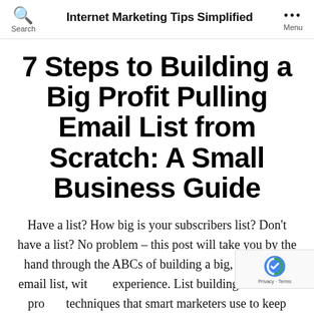Internet Marketing Tips Simplified
7 Steps to Building a Big Profit Pulling Email List from Scratch: A Small Business Guide
Have a list? How big is your subscribers list? Don't have a list? No problem – this post will take you by the hand through the ABCs of building a big, responsive email list, with experience. List building is one fail-pro… techniques that smart marketers use to keep…